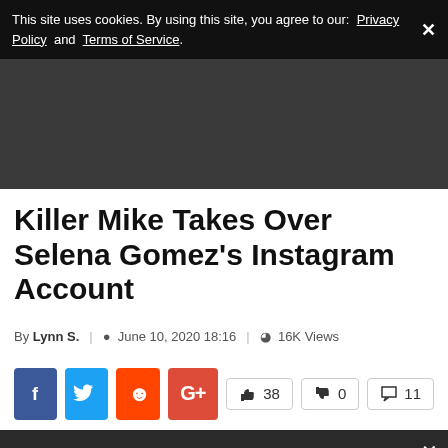This site uses cookies. By using this site, you agree to our: Privacy Policy and Terms of Service.
[Figure (other): Dark gray advertisement/banner area]
Killer Mike Takes Over Selena Gomez's Instagram Account
By Lynn S. | June 10, 2020 18:16 | 16K Views
[Figure (other): Social share buttons: Facebook, Twitter, Reddit, Google+; reaction counts: 38 likes, 0 dislikes, 11 comments]
[Figure (screenshot): Video strip showing 'Selena Gomez Hints At Retirement' text on dark background with close X button]